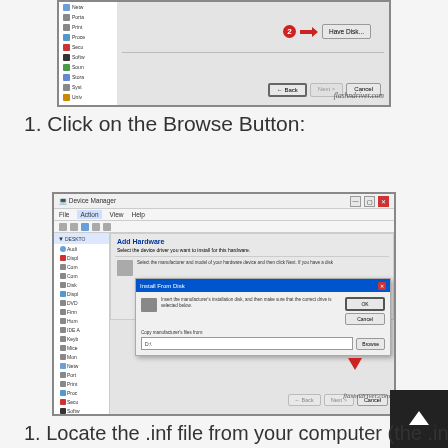[Figure (screenshot): Windows Device Manager dialog showing 'Have Disk...' button with red circle number 2 and red arrow pointing to it, with Back and Cancel buttons at bottom. Watermark: flashndriver.com]
1. Click on the Browse Button:
[Figure (screenshot): Windows Device Manager with 'Install From Disk' dialog open, showing 'Copy manufacturer's files from:' field with input box and Browse button highlighted by a red downward arrow. Watermark: flashndriver.com]
1. Locate the .inf file from your computer (the .inf